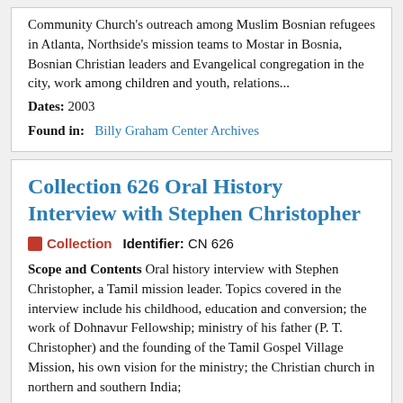Community Church's outreach among Muslim Bosnian refugees in Atlanta, Northside's mission teams to Mostar in Bosnia, Bosnian Christian leaders and Evangelical congregation in the city, work among children and youth, relations...
Dates: 2003
Found in: Billy Graham Center Archives
Collection 626 Oral History Interview with Stephen Christopher
Collection   Identifier: CN 626
Scope and Contents Oral history interview with Stephen Christopher, a Tamil mission leader. Topics covered in the interview include his childhood, education and conversion; the work of Dohnavur Fellowship; ministry of his father (P. T. Christopher) and the founding of the Tamil Gospel Village Mission, his own vision for the ministry; the Christian church in northern and southern India;